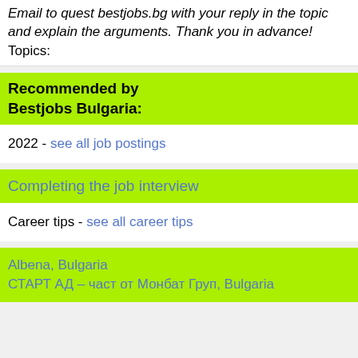Email to quest bestjobs.bg with your reply in the topic and explain the arguments. Thank you in advance!
Topics:
Recommended by Bestjobs Bulgaria:
2022 - see all job postings
Completing the job interview
Career tips - see all career tips
Albena, Bulgaria
СТАРТ АД – част от Монбат Груп, Bulgaria